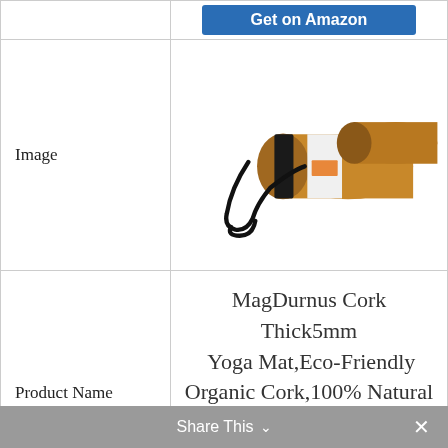|  |  |
| --- | --- |
|  | Get on Amazon (button) |
| Image | [cork yoga mat product image] |
| Product Name | MagDurnus Cork Thick❓5mm ❓ Yoga Mat,Eco-Friendly Organic Cork,100% Natural Rubber,for Exercise,Pilates,hot yoga,Included Strap |
| Our Rating | 7.9 |
|  | Get on Amazon (button) |
Share This ∨  ×